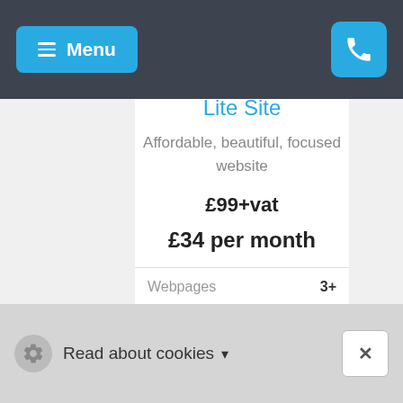Menu
Lite Site
Affordable, beautiful, focused website
£99+vat
£34 per month
| Webpages |  |
| --- | --- |
| Webpages | 3+ |
Read about cookies  ×